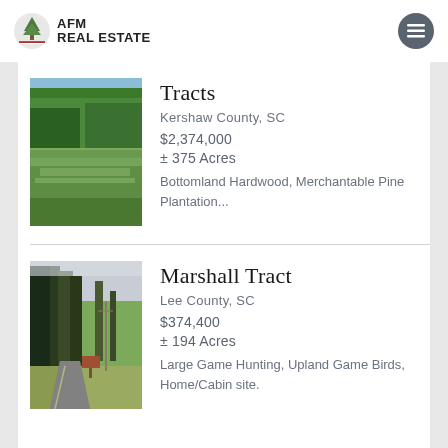AFM REAL ESTATE
Tracts
Kershaw County, SC
$2,374,000
± 375 Acres
Bottomland Hardwood, Merchantable Pine Plantation...
Marshall Tract
Lee County, SC
$374,400
± 194 Acres
Large Game Hunting, Upland Game Birds, Home/Cabin site.